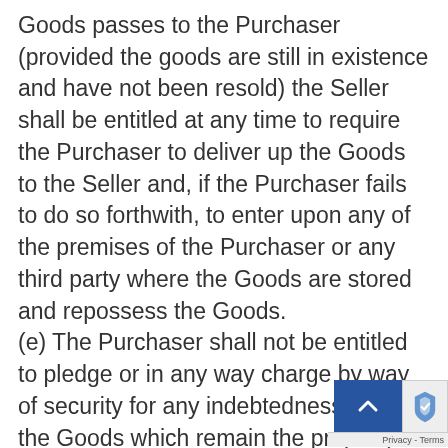Goods passes to the Purchaser (provided the goods are still in existence and have not been resold) the Seller shall be entitled at any time to require the Purchaser to deliver up the Goods to the Seller and, if the Purchaser fails to do so forthwith, to enter upon any of the premises of the Purchaser or any third party where the Goods are stored and repossess the Goods.
(e) The Purchaser shall not be entitled to pledge or in any way charge by way of security for any indebtedness any of the Goods which remain the property of Seller, but if the Purchaser does so a monies owing by the Purchaser to the